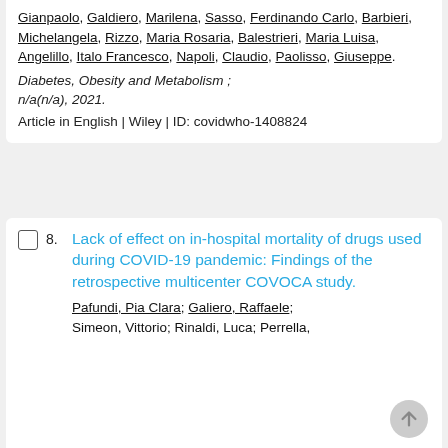Gianpaolo, Galdiero, Marilena, Sasso, Ferdinando Carlo, Barbieri, Michelangela, Rizzo, Maria Rosaria, Balestrieri, Maria Luisa, Angelillo, Italo Francesco, Napoli, Claudio, Paolisso, Giuseppe. Diabetes, Obesity and Metabolism ; n/a(n/a), 2021. Article in English | Wiley | ID: covidwho-1408824
8. Lack of effect on in-hospital mortality of drugs used during COVID-19 pandemic: Findings of the retrospective multicenter COVOCA study.
Pafundi, Pia Clara; Galiero, Raffaele; Simeon, Vittorio; Rinaldi, Luca; Perrella,